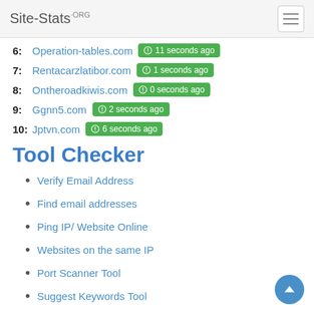Site-Stats.ORG
6: Operation-tables.com  11 seconds ago
7: Rentacarzlatibor.com  1 seconds ago
8: Ontheroadkiwis.com  0 seconds ago
9: Ggnn5.com  2 seconds ago
10: Jptvn.com  6 seconds ago
Tool Checker
Verify Email Address
Find email addresses
Ping IP/ Website Online
Websites on the same IP
Port Scanner Tool
Suggest Keywords Tool